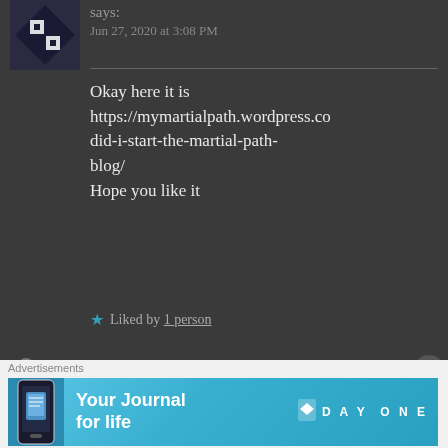says:
Jun 27, 2020 at 3:08 PM
Okay here it is https://mymartialpath.wordpress.co did-i-start-the-martial-path-blog/ Hope you like it
Liked by 1 person
THE BOLD GIRL says: Reply
Jun 27, 2020 at 6:40 PM
Advertisements
[Figure (infographic): Blue Day One journal app advertisement banner with text 'Your Journal for life' and DAY ONE logo]